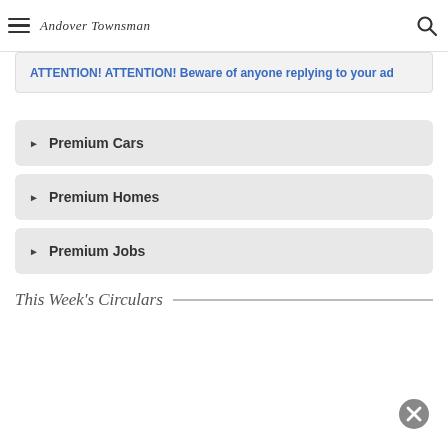Andover Townsman
ATTENTION! ATTENTION! Beware of anyone replying to your ad
Premium Cars
Premium Homes
Premium Jobs
This Week's Circulars